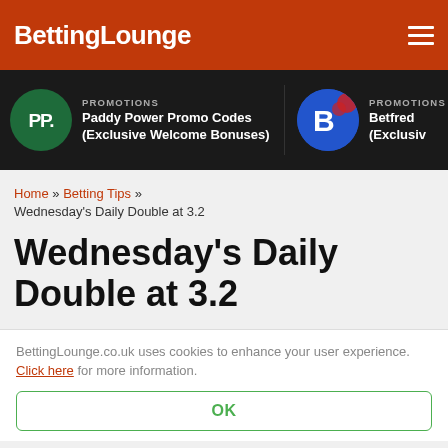BettingLounge
[Figure (logo): Paddy Power (PP.) circular green logo with PROMOTIONS label and text: Paddy Power Promo Codes (Exclusive Welcome Bonuses)]
[Figure (logo): Betfred circular blue/red logo with PROMOTIONS label and text: Betfred (Exclusiv...)]
Home » Betting Tips » Wednesday's Daily Double at 3.2
Wednesday's Daily Double at 3.2
BettingLounge.co.uk uses cookies to enhance your user experience. Click here for more information.
OK